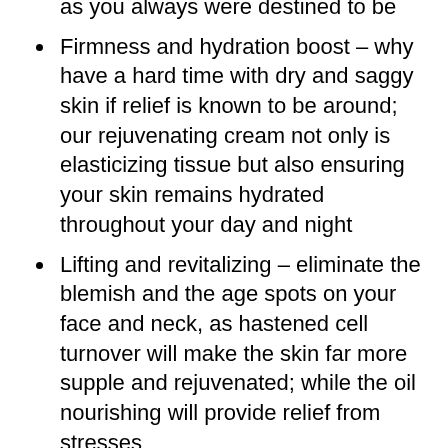as you always were destined to be
Firmness and hydration boost – why have a hard time with dry and saggy skin if relief is known to be around; our rejuvenating cream not only is elasticizing tissue but also ensuring your skin remains hydrated throughout your day and night
Lifting and revitalizing – eliminate the blemish and the age spots on your face and neck, as hastened cell turnover will make the skin far more supple and rejuvenated; while the oil nourishing will provide relief from stresses
Safe and soft – if you struggle to find skincare tender enough for the most sensitive epidermis, struggle no more,